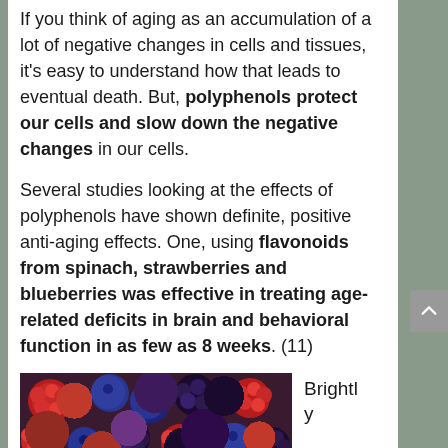If you think of aging as an accumulation of a lot of negative changes in cells and tissues, it's easy to understand how that leads to eventual death. But, polyphenols protect our cells and slow down the negative changes in our cells.
Several studies looking at the effects of polyphenols have shown definite, positive anti-aging effects. One, using flavonoids from spinach, strawberries and blueberries was effective in treating age-related deficits in brain and behavioral function in as few as 8 weeks. (11)
[Figure (photo): Close-up photo of mixed berries including raspberries, blueberries, and blackberries]
Brightly